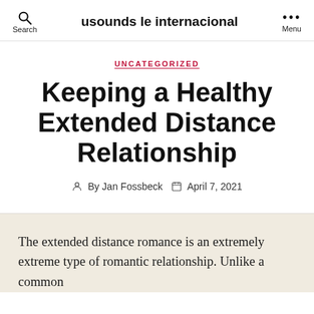usounds le internacional
UNCATEGORIZED
Keeping a Healthy Extended Distance Relationship
By Jan Fossbeck   April 7, 2021
The extended distance romance is an extremely extreme type of romantic relationship. Unlike a common